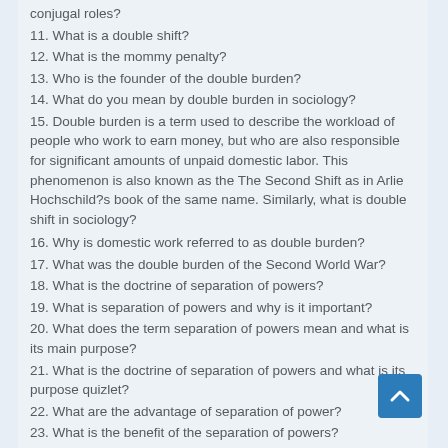conjugal roles?
11. What is a double shift?
12. What is the mommy penalty?
13. Who is the founder of the double burden?
14. What do you mean by double burden in sociology?
15. Double burden is a term used to describe the workload of people who work to earn money, but who are also responsible for significant amounts of unpaid domestic labor. This phenomenon is also known as the The Second Shift as in Arlie Hochschild?s book of the same name. Similarly, what is double shift in sociology?
16. Why is domestic work referred to as double burden?
17. What was the double burden of the Second World War?
18. What is the doctrine of separation of powers?
19. What is separation of powers and why is it important?
20. What does the term separation of powers mean and what is its main purpose?
21. What is the doctrine of separation of powers and what is its purpose quizlet?
22. What are the advantage of separation of power?
23. What is the benefit of the separation of powers?
24. What was the pure doctrine of separation of powers?
25. How does the system of separation of powers work?